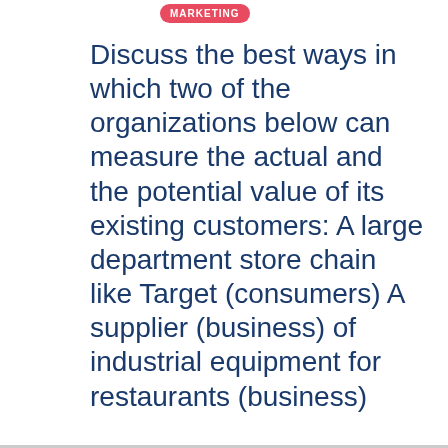MARKETING
Discuss the best ways in which two of the organizations below can measure the actual and the potential value of its existing customers: A large department store chain like Target (consumers) A supplier (business) of industrial equipment for restaurants (business)